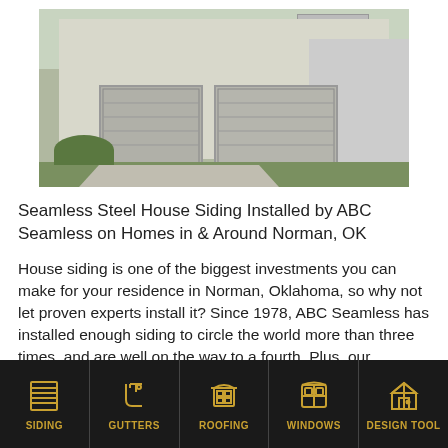[Figure (photo): Exterior photo of a house with beige/gray siding, two garage doors, balcony, green lawn, and driveway]
Seamless Steel House Siding Installed by ABC Seamless on Homes in & Around Norman, OK
House siding is one of the biggest investments you can make for your residence in Norman, Oklahoma, so why not let proven experts install it? Since 1978, ABC Seamless has installed enough siding to circle the world more than three times, and are well on the way to a fourth. Plus, our revolutionary seamless steel siding will save you money on repair costs, energy bills, painting, and more, so investing in
SIDING | GUTTERS | ROOFING | WINDOWS | DESIGN TOOL